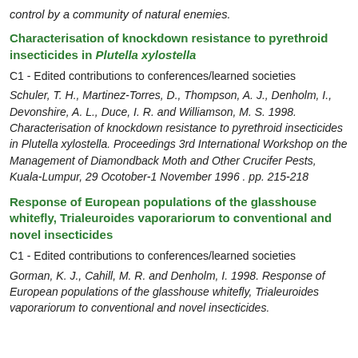control by a community of natural enemies.
Characterisation of knockdown resistance to pyrethroid insecticides in Plutella xylostella
C1 - Edited contributions to conferences/learned societies
Schuler, T. H., Martinez-Torres, D., Thompson, A. J., Denholm, I., Devonshire, A. L., Duce, I. R. and Williamson, M. S. 1998. Characterisation of knockdown resistance to pyrethroid insecticides in Plutella xylostella. Proceedings 3rd International Workshop on the Management of Diamondback Moth and Other Crucifer Pests, Kuala-Lumpur, 29 Ocotober-1 November 1996 . pp. 215-218
Response of European populations of the glasshouse whitefly, Trialeuroides vaporariorum to conventional and novel insecticides
C1 - Edited contributions to conferences/learned societies
Gorman, K. J., Cahill, M. R. and Denholm, I. 1998. Response of European populations of the glasshouse whitefly, Trialeuroides vaporariorum to conventional and novel insecticides.